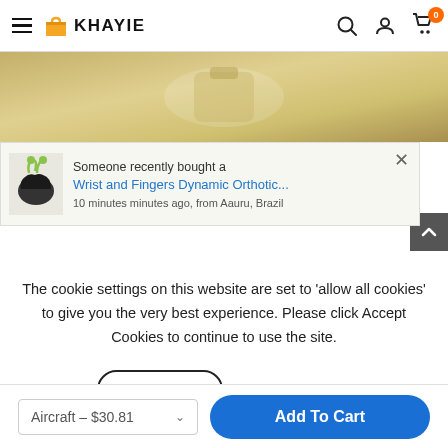KHAYIE — navigation bar with logo, search, account, and cart (0 items)
[Figure (photo): Product image band showing a gold/tan background with a partial view of a hand/wrist device product]
Someone recently bought a Wrist and Fingers Dynamic Orthotic... 10 minutes minutes ago, from Aauru, Brazil
The cookie settings on this website are set to 'allow all cookies' to give you the very best experience. Please click Accept Cookies to continue to use the site.
Accept
Privacy Policy
Aircraft – $30.81
Add To Cart